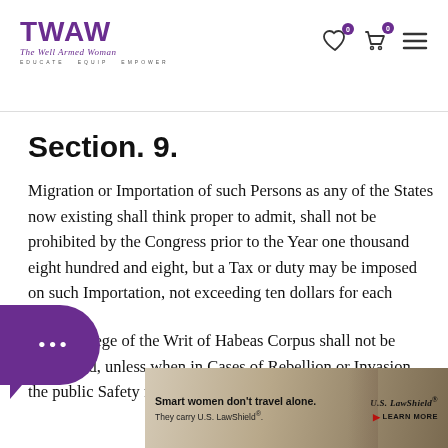TWAW – The Well Armed Woman – Educate Equip Empower
Section. 9.
Migration or Importation of such Persons as any of the States now existing shall think proper to admit, shall not be prohibited by the Congress prior to the Year one thousand eight hundred and eight, but a Tax or duty may be imposed on such Importation, not exceeding ten dollars for each Person.
The Privilege of the Writ of Habeas Corpus shall not be suspended, unless when in Cases of Rebellion or Invasion the public Safety may require it.
No Bill of...
[Figure (photo): Advertisement banner: Smart women don't travel alone. They carry U.S. LawShield®. U.S. LawShield logo and LEARN MORE button.]